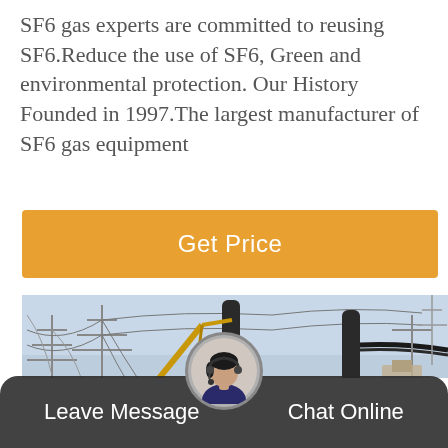SF6 gas experts are committed to reusing SF6.Reduce the use of SF6, Green and environmental protection. Our History Founded in 1997.The largest manufacturer of SF6 gas equipment
[Figure (other): Orange 'Get Price' call-to-action button bar]
[Figure (photo): Electrical substation with high-voltage equipment, transmission towers, wires, and a yellow crane truck in the foreground]
[Figure (other): Dark bottom navigation bar with 'Leave Message' and 'Chat Online' buttons, and a customer service avatar in the center]